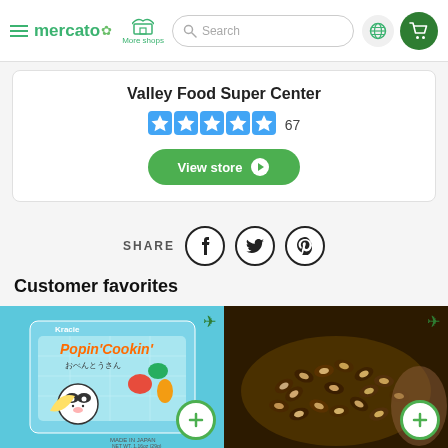mercato — More shops — Search — globe icon — cart icon
Valley Food Super Center
★★★★★ 67
View store
SHARE
Customer favorites
[Figure (photo): Kracie Popin' Cookin' Japanese candy kit product box with panda and food illustrations]
[Figure (photo): Chocolate covered almonds/espresso beans on a plate]